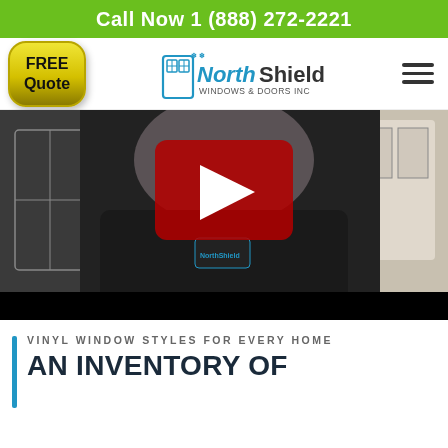Call Now 1 (888) 272-2221
[Figure (logo): FREE Quote button and NorthShield Windows & Doors Inc logo with hamburger menu icon]
[Figure (screenshot): YouTube video thumbnail showing a man wearing a NorthShield Windows & Doors jacket, with a red YouTube play button overlay and a black progress bar at the bottom]
VINYL WINDOW STYLES FOR EVERY HOME
AN INVENTORY OF